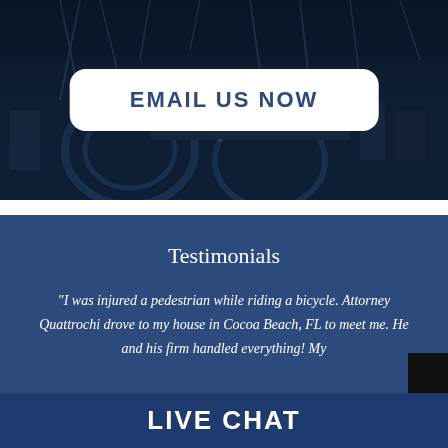[Figure (photo): Aerial dark blue night view of an industrial or urban area with structures, serving as background for the email button]
EMAIL US NOW
Testimonials
"I was injured a pedestrian while riding a bicycle. Attorney Quattrochi drove to my house in Cocoa Beach, FL to meet me. He and his firm handled everything! My
LIVE CHAT